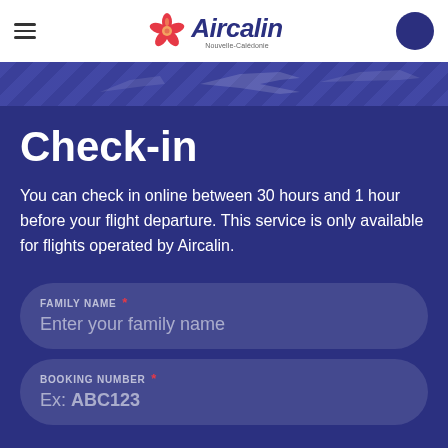Aircalin — Nouvelle-Calédonie
Check-in
You can check in online between 30 hours and 1 hour before your flight departure. This service is only available for flights operated by Aircalin.
FAMILY NAME * — Enter your family name
BOOKING NUMBER * — Ex: ABC123